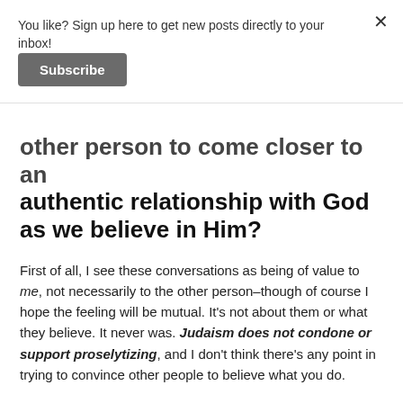You like? Sign up here to get new posts directly to your inbox!
Subscribe
other person to come closer to an authentic relationship with God as we believe in Him?
First of all, I see these conversations as being of value to me, not necessarily to the other person–though of course I hope the feeling will be mutual. It's not about them or what they believe. It never was. Judaism does not condone or support proselytizing, and I don't think there's any point in trying to convince other people to believe what you do.
I find that discussing Judaism with people of other faiths–explaining what I do and what I believe–strengthens my